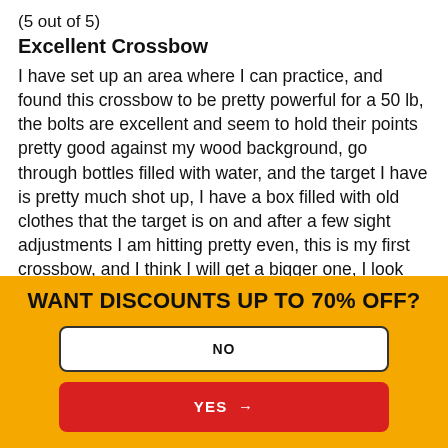(5 out of 5)
Excellent Crossbow
I have set up an area where I can practice, and found this crossbow to be pretty powerful for a 50 lb, the bolts are excellent and seem to hold their points pretty good against my wood background, go through bottles filled with water, and the target I have is pretty much shot up, I have a box filled with old clothes that the target is on and after a few sight adjustments I am hitting pretty even, this is my first crossbow, and I think I will get a bigger one, I look forward to going out to my friend's place in
WANT DISCOUNTS UP TO 70% OFF?
NO
YES →